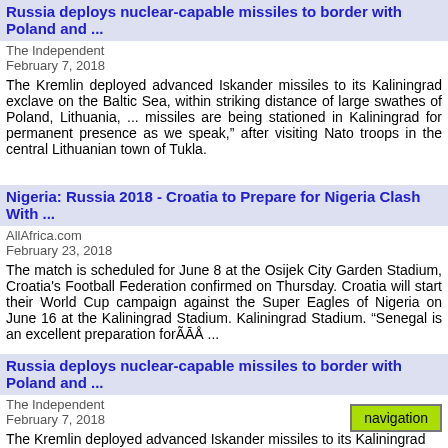Russia deploys nuclear-capable missiles to border with Poland and ...
The Independent
February 7, 2018
The Kremlin deployed advanced Iskander missiles to its Kaliningrad exclave on the Baltic Sea, within striking distance of large swathes of Poland, Lithuania, ... missiles are being stationed in Kaliningrad for permanent presence as we speak," after visiting Nato troops in the central Lithuanian town of Tukla.
Nigeria: Russia 2018 - Croatia to Prepare for Nigeria Clash With ...
AllAfrica.com
February 23, 2018
The match is scheduled for June 8 at the Osijek City Garden Stadium, Croatia's Football Federation confirmed on Thursday. Croatia will start their World Cup campaign against the Super Eagles of Nigeria on June 16 at the Kaliningrad Stadium. Kaliningrad Stadium. "Senegal is an excellent preparation forÃĀÅ ...
Russia deploys nuclear-capable missiles to border with Poland and ...
The Independent
February 7, 2018
The Kremlin deployed advanced Iskander missiles to its Kaliningrad